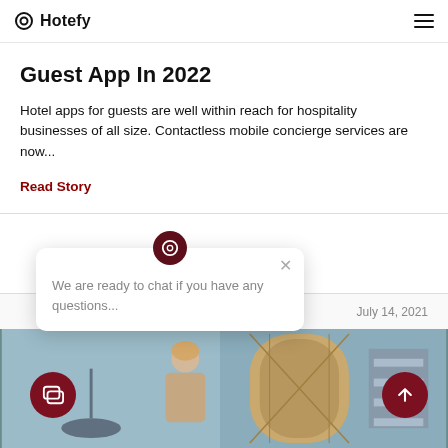Hotefy
Guest App In 2022
Hotel apps for guests are well within reach for hospitality businesses of all size. Contactless mobile concierge services are now...
Read Story
July 14, 2021
[Figure (photo): Hotel lobby or room scene with a person and decorative arch window]
We are ready to chat if you have any questions...